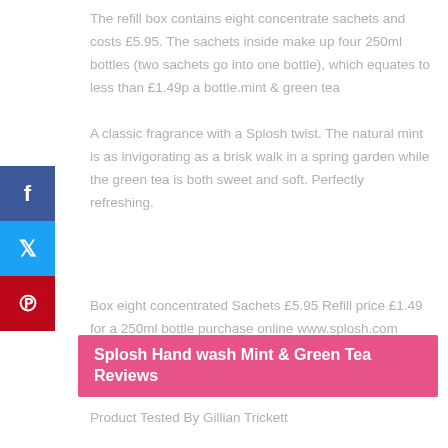The refill box contains eight concentrate sachets and costs £5.95. The sachets inside make up four 250ml bottles (two sachets go into one bottle), which equates to less than £1.49p a bottle.mint & green tea
A classic fragrance with a Splosh twist. The natural mint is as invigorating as a brisk walk in a spring garden while the green tea is both sweet and soft. Perfectly refreshing.
Box eight concentrated Sachets £5.95 Refill price £1.49 for a 250ml bottle purchase online www.splosh.com
Splosh Hand wash Mint & Green Tea Reviews
Product Tested By Gillian Trickett